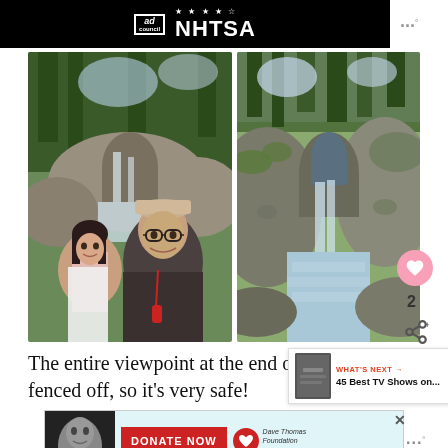[Figure (photo): Black banner with Ad Council and NHTSA logos at top of page]
[Figure (photo): Left photo: Couple selfie in front of rocky waterfall gorge surrounded by forest. Two people smiling, man wearing beige cap and glasses.]
[Figure (photo): Right photo: Rocky gorge with rushing teal water between large moss-covered boulders with trees in background]
The entire viewpoint at the end of th… fenced off, so it's very safe!
[Figure (screenshot): WHAT'S NEXT panel showing '45 Best TV Shows on...' thumbnail]
[Figure (photo): Bottom advertisement: Dave Thomas Foundation for Adoption - DONATE NOW button on teal background with woman portrait on left]